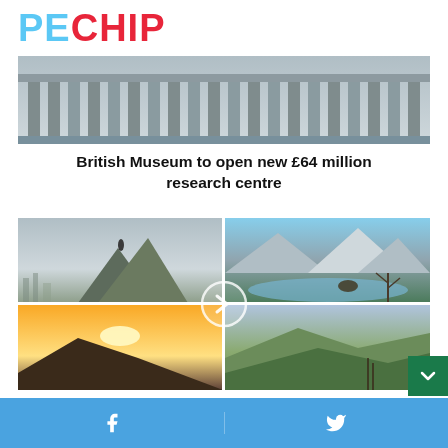PECHIP
[Figure (photo): British Museum exterior with classical columns]
British Museum to open new £64 million research centre
[Figure (photo): Four photo grid of scenic UK landscapes including rocky cliff with city view, snowy mountain lake, sunset over hills, and rolling green countryside with a slideshow navigation arrow overlay]
26 of the UK's most scenic places to take the
Facebook share | Twitter share